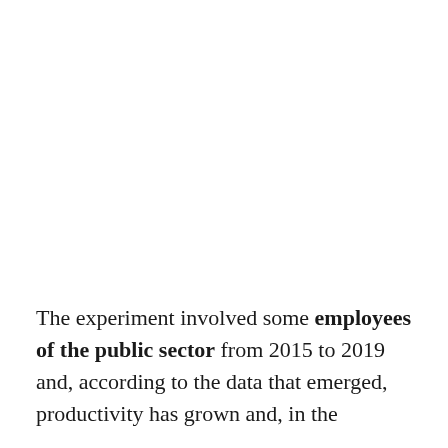The experiment involved some employees of the public sector from 2015 to 2019 and, according to the data that emerged, productivity has grown and, in the